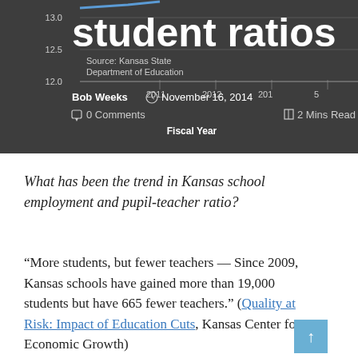[Figure (line-chart): Partial line chart showing pupil-teacher student ratios over fiscal years 2011-2015, with y-axis values 12.0, 12.5, 13.0. Source: Kansas State Department of Education.]
Bob Weeks  November 16, 2014  0 Comments  2 Mins Read
What has been the trend in Kansas school employment and pupil-teacher ratio?
“More students, but fewer teachers — Since 2009, Kansas schools have gained more than 19,000 students but have 665 fewer teachers.” (Quality at Risk: Impact of Education Cuts, Kansas Center for Economic Growth)